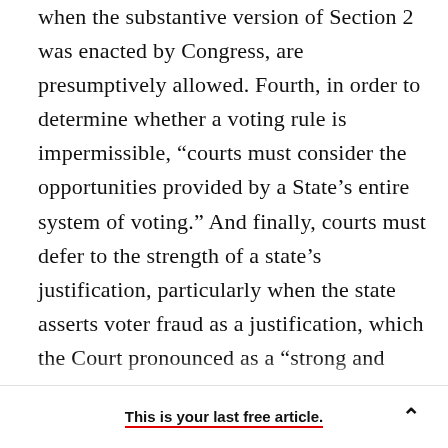when the substantive version of Section 2 was enacted by Congress, are presumptively allowed. Fourth, in order to determine whether a voting rule is impermissible, “courts must consider the opportunities provided by a State’s entire system of voting.” And finally, courts must defer to the strength of a state’s justification, particularly when the state asserts voter fraud as a justification, which the Court pronounced as a “strong and entirely legitimate state interest.” These factors are intended to, and will, protect the states against many Section 2 lawsuits. They will make Section 2 claims less likely to be filed by plaintiffs, and more likely to be
This is your last free article.